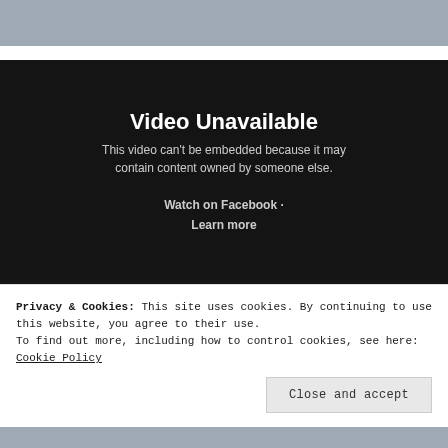[Figure (screenshot): Dark background video unavailable placeholder with title 'Video Unavailable', subtitle text, and Watch on Facebook / Learn more links.]
Privacy & Cookies: This site uses cookies. By continuing to use this website, you agree to their use.
To find out more, including how to control cookies, see here: Cookie Policy
Close and accept